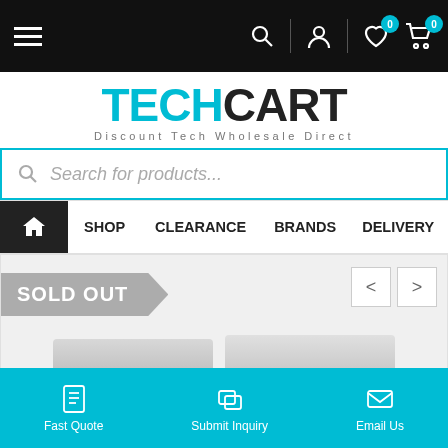TechCart navigation bar with hamburger menu, search, account, wishlist (0), and cart (0) icons
TECHCART — Discount Tech Wholesale Direct
Search for products...
SHOP   CLEARANCE   BRANDS   DELIVERY   FAQS
[Figure (screenshot): Product carousel area showing SOLD OUT banner and two product image thumbnails with left/right navigation arrows]
Fast Quote   Submit Inquiry   Email Us